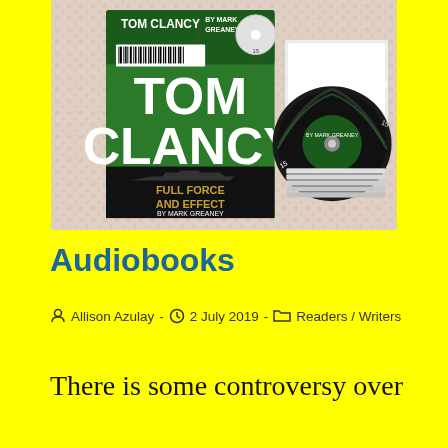[Figure (photo): Photo of Tom Clancy 'Full Force and Effect' audiobook by Mark Greaney — green box and CD discs on a white crocheted background]
Audiobooks
Allison Azulay - 2 July 2019 - Readers / Writers
There is some controversy over